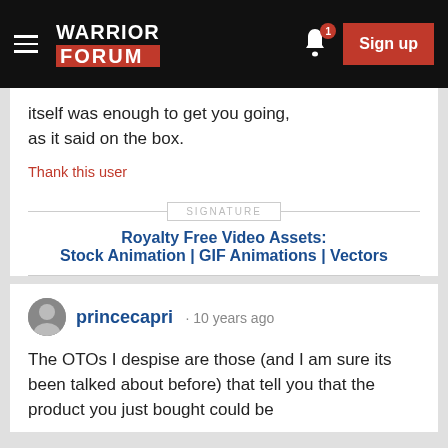Warrior Forum
itself was enough to get you going, as it said on the box.
Thank this user
SIGNATURE
Royalty Free Video Assets: Stock Animation | GIF Animations | Vectors
princecapri · 10 years ago
The OTOs I despise are those (and I am sure its been talked about before) that tell you that the product you just bought could be